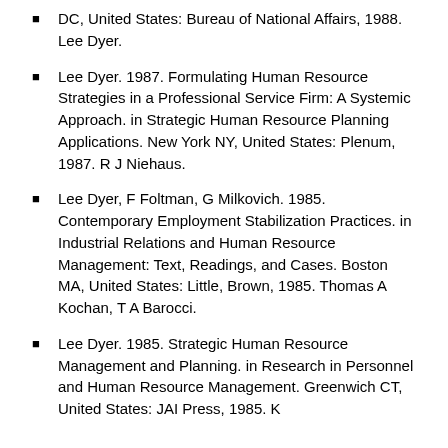DC, United States: Bureau of National Affairs, 1988. Lee Dyer.
Lee Dyer. 1987. Formulating Human Resource Strategies in a Professional Service Firm: A Systemic Approach. in Strategic Human Resource Planning Applications. New York NY, United States: Plenum, 1987. R J Niehaus.
Lee Dyer, F Foltman, G Milkovich. 1985. Contemporary Employment Stabilization Practices. in Industrial Relations and Human Resource Management: Text, Readings, and Cases. Boston MA, United States: Little, Brown, 1985. Thomas A Kochan, T A Barocci.
Lee Dyer. 1985. Strategic Human Resource Management and Planning. in Research in Personnel and Human Resource Management. Greenwich CT, United States: JAI Press, 1985. K